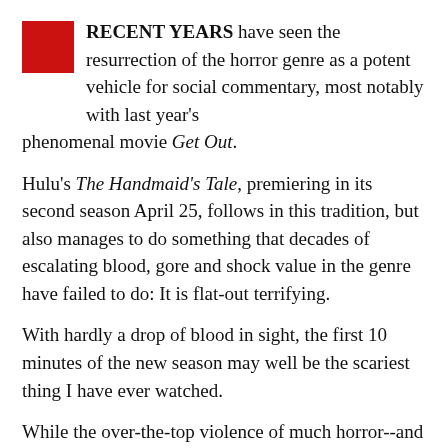RECENT YEARS have seen the resurrection of the horror genre as a potent vehicle for social commentary, most notably with last year's phenomenal movie Get Out.
Hulu's The Handmaid's Tale, premiering in its second season April 25, follows in this tradition, but also manages to do something that decades of escalating blood, gore and shock value in the genre have failed to do: It is flat-out terrifying.
With hardly a drop of blood in sight, the first 10 minutes of the new season may well be the scariest thing I have ever watched.
While the over-the-top violence of much horror--and indeed much of mainstream movies and television in general--tends to desensitize viewers, The Handmaid's Tale does the opposite: it sensitizes you, in the most excruciating way.